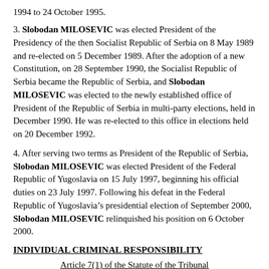1994 to 24 October 1995.
3. Slobodan MILOSEVIC was elected President of the Presidency of the then Socialist Republic of Serbia on 8 May 1989 and re-elected on 5 December 1989. After the adoption of a new Constitution, on 28 September 1990, the Socialist Republic of Serbia became the Republic of Serbia, and Slobodan MILOSEVIC was elected to the newly established office of President of the Republic of Serbia in multi-party elections, held in December 1990. He was re-elected to this office in elections held on 20 December 1992.
4. After serving two terms as President of the Republic of Serbia, Slobodan MILOSEVIC was elected President of the Federal Republic of Yugoslavia on 15 July 1997, beginning his official duties on 23 July 1997. Following his defeat in the Federal Republic of Yugoslavia’s presidential election of September 2000, Slobodan MILOSEVIC relinquished his position on 6 October 2000.
INDIVIDUAL CRIMINAL RESPONSIBILITY
Article 7(1) of the Statute of the Tribunal
5. Slobodan MILOSEVIC is individually criminally responsible for the crimes referred to in Articles 2, 3, 4 and 5 of the Statute of